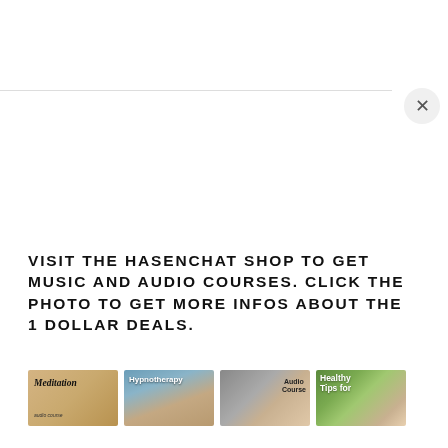[Figure (screenshot): Close button (×) in a circle, top right area of a modal/overlay UI]
VISIT THE HASENCHAT SHOP TO GET MUSIC AND AUDIO COURSES. CLICK THE PHOTO TO GET MORE INFOS ABOUT THE 1 DOLLAR DEALS.
[Figure (infographic): Row of four thumbnail images: Meditation audio course (tan/wood background), Hypnotherapy course (blue/photo background), Audio Course (mixed background with two people), Healthy Tips for (green/nature background)]